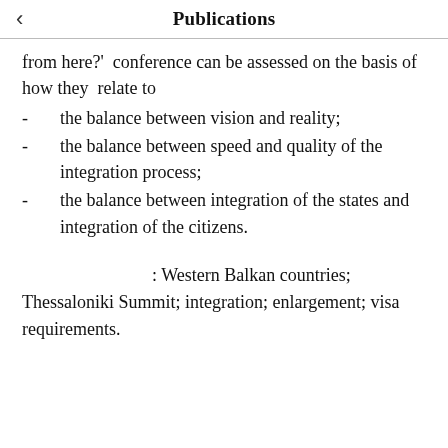Publications
from here?'  conference can be assessed on the basis of how they  relate to
the balance between vision and reality;
the balance between speed and quality of the integration process;
the balance between integration of the states and integration of the citizens.
: Western Balkan countries; Thessaloniki Summit; integration; enlargement; visa requirements.